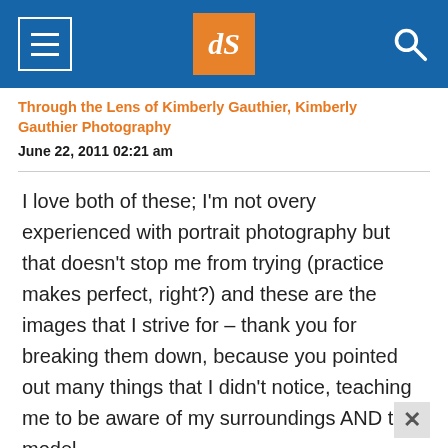dPS logo navigation bar
Through the Lens of Kimberly Gauthier, Kimberly Gauthier Photography
June 22, 2011 02:21 am
I love both of these; I'm not overy experienced with portrait photography but that doesn't stop me from trying (practice makes perfect, right?) and these are the images that I strive for – thank you for breaking them down, because you pointed out many things that I didn't notice, teaching me to be aware of my surroundings AND the model.